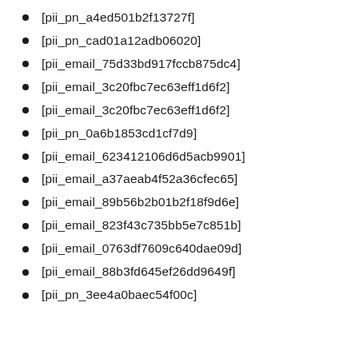[pii_pn_a4ed501b2f13727f]
[pii_pn_cad01a12adb06020]
[pii_email_75d33bd917fccb875dc4]
[pii_email_3c20fbc7ec63eff1d6f2]
[pii_email_3c20fbc7ec63eff1d6f2]
[pii_pn_0a6b1853cd1cf7d9]
[pii_email_623412106d6d5acb9901]
[pii_email_a37aeab4f52a36cfec65]
[pii_email_89b56b2b01b2f18f9d6e]
[pii_email_823f43c735bb5e7c851b]
[pii_email_0763df7609c640dae09d]
[pii_email_88b3fd645ef26dd9649f]
[pii_pn_3ee4a0baec54f00c]